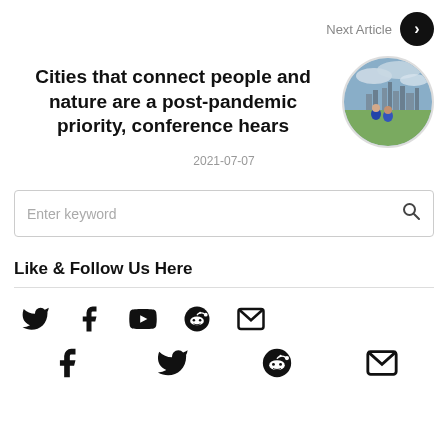Next Article
Cities that connect people and nature are a post-pandemic priority, conference hears
[Figure (photo): Circular thumbnail photo of two people looking at a city skyline]
2021-07-07
Enter keyword
Like & Follow Us Here
[Figure (other): Social media icons: Twitter, Facebook, YouTube, Reddit, Mail (row 1), Facebook, Twitter, Reddit, Mail (row 2)]